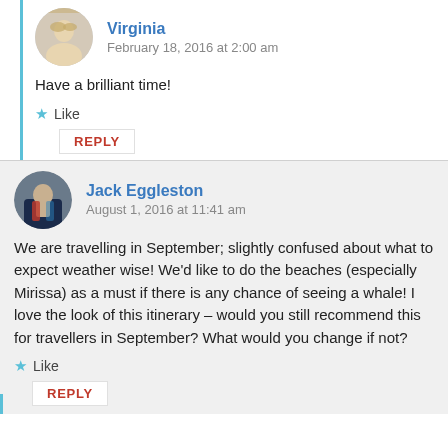Virginia
February 18, 2016 at 2:00 am
Have a brilliant time!
Like
REPLY
Jack Eggleston
August 1, 2016 at 11:41 am
We are travelling in September; slightly confused about what to expect weather wise! We'd like to do the beaches (especially Mirissa) as a must if there is any chance of seeing a whale! I love the look of this itinerary – would you still recommend this for travellers in September? What would you change if not?
Like
REPLY